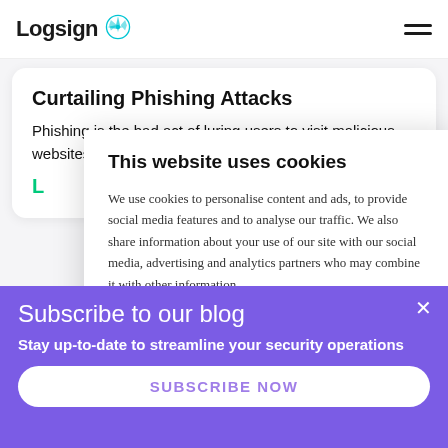Logsign
Curtailing Phishing Attacks
Phishing is the bad act of luring users to visit malicious websites that apparently seems le
L
This website uses cookies
We use cookies to personalise content and ads, to provide social media features and to analyse our traffic. We also share information about your use of our site with our social media, advertising and analytics partners who may combine it with other information
[Figure (photo): Dark purple background image on left side]
[Figure (photo): Pink/red floral image on right side]
Subscribe to our blog
Stay up-to-date to streamline your security operations
SUBSCRIBE NOW